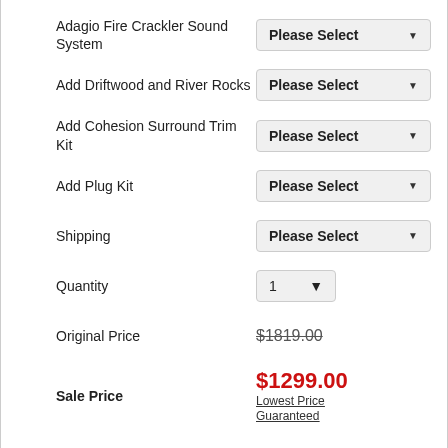Adagio Fire Crackler Sound System
Add Driftwood and River Rocks
Add Cohesion Surround Trim Kit
Add Plug Kit
Shipping
Quantity
Original Price $1819.00
Sale Price $1299.00 Lowest Price Guaranteed